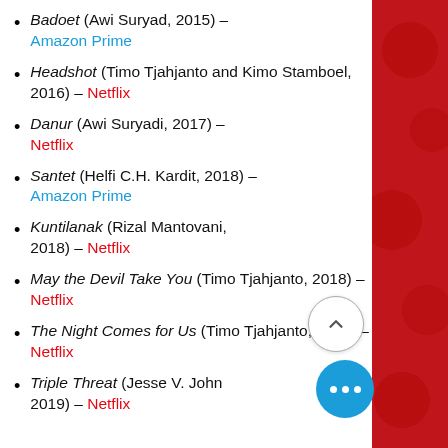Badoet (Awi Suryad, 2015) – Amazon Prime
Headshot (Timo Tjahjanto and Kimo Stamboel, 2016) – Netflix
Danur (Awi Suryadi, 2017) – Netflix
Santet (Helfi C.H. Kardit, 2018) – Amazon Prime
Kuntilanak (Rizal Mantovani, 2018) – Netflix
May the Devil Take You (Timo Tjahjanto, 2018) – Netflix
The Night Comes for Us (Timo Tjahjanto, 2018) – Netflix
Triple Threat (Jesse V. Johnson, 2019) – Netflix